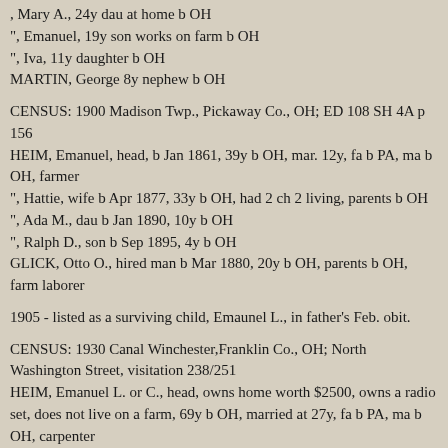, Mary A., 24y dau at home b OH
", Emanuel, 19y son works on farm b OH
", Iva, 11y daughter b OH
MARTIN, George 8y nephew b OH
CENSUS: 1900 Madison Twp., Pickaway Co., OH; ED 108 SH 4A p 156
HEIM, Emanuel, head, b Jan 1861, 39y b OH, mar. 12y, fa b PA, ma b OH, farmer
", Hattie, wife b Apr 1877, 33y b OH, had 2 ch 2 living, parents b OH
", Ada M., dau b Jan 1890, 10y b OH
", Ralph D., son b Sep 1895, 4y b OH
GLICK, Otto O., hired man b Mar 1880, 20y b OH, parents b OH, farm laborer
1905 - listed as a surviving child, Emaunel L., in father's Feb. obit.
CENSUS: 1930 Canal Winchester,Franklin Co., OH; North Washington Street, visitation 238/251
HEIM, Emanuel L. or C., head, owns home worth $2500, owns a radio set, does not live on a farm, 69y b OH, married at 27y, fa b PA, ma b OH, carpenter
", Hattie R., wife 63y b OH, married at 21y, parents b OH
"E. L. HEIM, also spelled alternated from of 47, or as it started in...